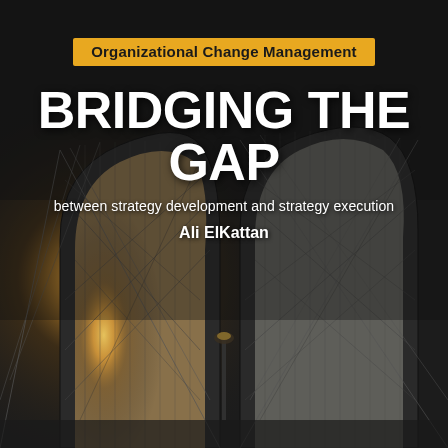[Figure (illustration): Book cover showing a dramatic upward view of the Brooklyn Bridge towers and suspension cables in dark monochrome tones with bright light breaking through on the left side]
Organizational Change Management
BRIDGING THE GAP
between strategy development and strategy execution
Ali ElKattan